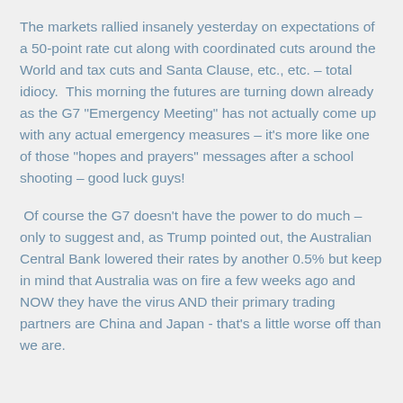The markets rallied insanely yesterday on expectations of a 50-point rate cut along with coordinated cuts around the World and tax cuts and Santa Clause, etc., etc. – total idiocy.  This morning the futures are turning down already as the G7 "Emergency Meeting" has not actually come up with any actual emergency measures – it's more like one of those "hopes and prayers" messages after a school shooting – good luck guys!
Of course the G7 doesn't have the power to do much – only to suggest and, as Trump pointed out, the Australian Central Bank lowered their rates by another 0.5% but keep in mind that Australia was on fire a few weeks ago and NOW they have the virus AND their primary trading partners are China and Japan - that's a little worse off than we are.